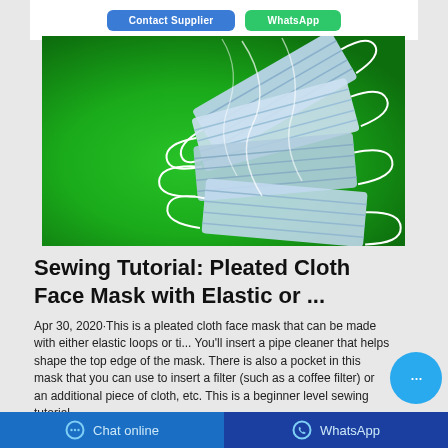[Figure (screenshot): Top partial view of two buttons: 'Contact Supplier' (blue) and 'WhatsApp' (green)]
[Figure (photo): Photo of blue surgical/disposable face masks scattered on a bright green background]
Sewing Tutorial: Pleated Cloth Face Mask with Elastic or ...
Apr 30, 2020·This is a pleated cloth face mask that can be made with either elastic loops or ti... You'll insert a pipe cleaner that helps shape the top edge of the mask. There is also a pocket in this mask that you can use to insert a filter (such as a coffee filter) or an additional piece of cloth, etc. This is a beginner level sewing tutorial.
Chat online   WhatsApp